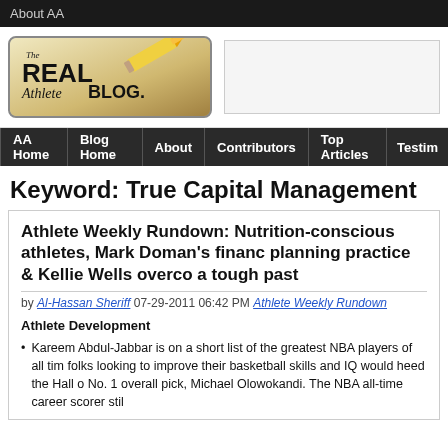About AA
[Figure (logo): The Real Athlete Blog logo with pencil graphic]
AA Home | Blog Home | About | Contributors | Top Articles | Testim
Keyword: True Capital Management
Athlete Weekly Rundown: Nutrition-conscious athletes, Mark Doman's financial planning practice & Kellie Wells overcoming a tough past
by Al-Hassan Sheriff 07-29-2011 06:42 PM Athlete Weekly Rundown
Athlete Development
Kareem Abdul-Jabbar is on a short list of the greatest NBA players of all time folks looking to improve their basketball skills and IQ would heed the Hall of No. 1 overall pick, Michael Olowokandi. The NBA all-time career scorer stil